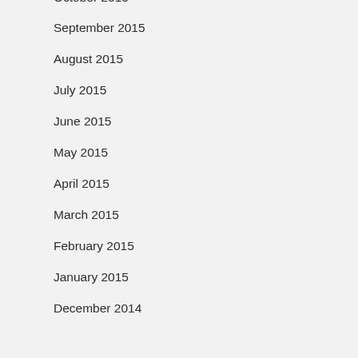October 2015
September 2015
August 2015
July 2015
June 2015
May 2015
April 2015
March 2015
February 2015
January 2015
December 2014